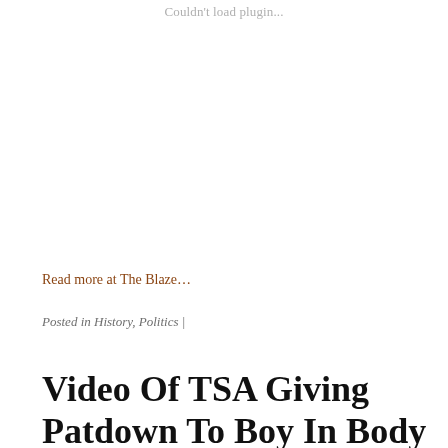Couldn't load plugin...
Read more at The Blaze…
Posted in History, Politics |
Video Of TSA Giving Patdown To Boy In Body Cast And Wheelchair Goes Viral